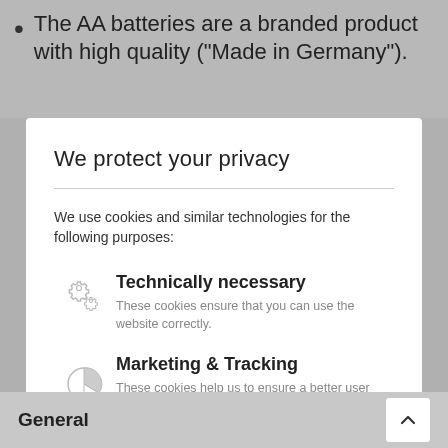The AA batteries are a branded product with high quality ("Made in Germany").
We protect your privacy
We use cookies and similar technologies for the following purposes:
Technically necessary
These cookies ensure that you can use the website correctly.
Marketing & Tracking
These cookies help us to ensure a better user experience and to constantly optimize our website for you. These cookies can also be used for the personalisation of advertisements - i.a.
General